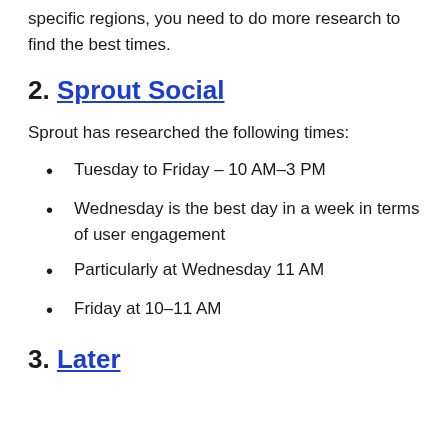specific regions, you need to do more research to find the best times.
2. Sprout Social
Sprout has researched the following times:
Tuesday to Friday – 10 AM–3 PM
Wednesday is the best day in a week in terms of user engagement
Particularly at Wednesday 11 AM
Friday at 10–11 AM
3. Later